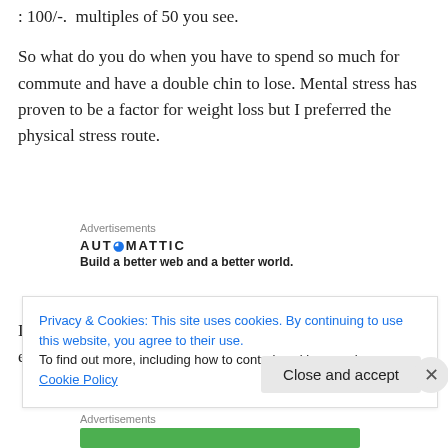: 100/-.  multiples of 50 you see.
So what do you do when you have to spend so much for commute and have a double chin to lose. Mental stress has proven to be a factor for weight loss but I preferred the physical stress route.
[Figure (other): Advertisements block showing Automattic logo and tagline 'Build a better web and a better world.']
I browsed the web for a simple, light weighted and effortless riding bike and bang – 'BSA Mach' was the
Privacy & Cookies: This site uses cookies. By continuing to use this website, you agree to their use.
To find out more, including how to control cookies, see here: Cookie Policy
[Figure (other): Advertisements block at the bottom with a green bar.]